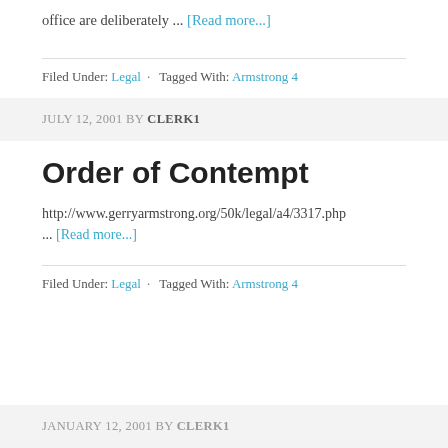office are deliberately ... [Read more...]
Filed Under: Legal · Tagged With: Armstrong 4
JULY 12, 2001 BY CLERK1
Order of Contempt
http://www.gerryarmstrong.org/50k/legal/a4/3317.php ... [Read more...]
Filed Under: Legal · Tagged With: Armstrong 4
JANUARY 12, 2001 BY CLERK1